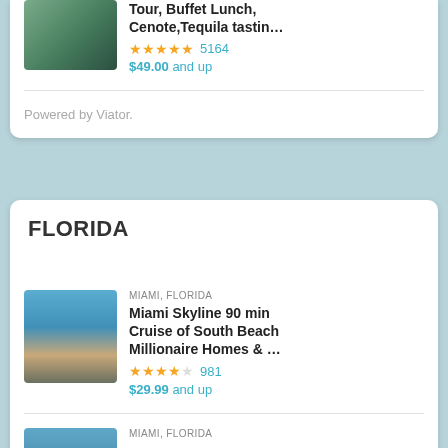[Figure (photo): Person in blue shirt against tropical plant background]
Tour, Buffet Lunch, Cenote,Tequila tastin…
★★★★½ 5164
$49.00 and up
Powered by Viator.
FLORIDA
MIAMI, FLORIDA
[Figure (photo): Couple on a boat looking at Miami skyline]
Miami Skyline 90 min Cruise of South Beach Millionaire Homes & …
★★★★☆ 981
$29.99 and up
MIAMI, FLORIDA
[Figure (photo): Partial image of another Miami listing]